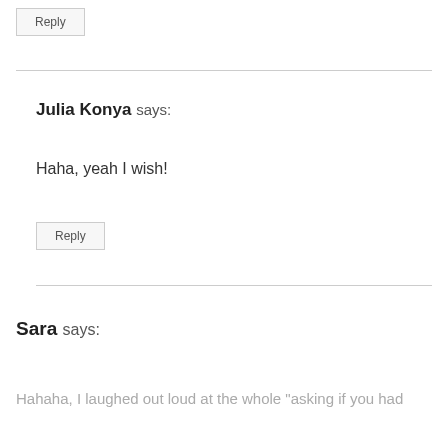Reply
Julia Konya says:
Haha, yeah I wish!
Reply
Sara says:
Hahaha, I laughed out loud at the whole "asking if you had